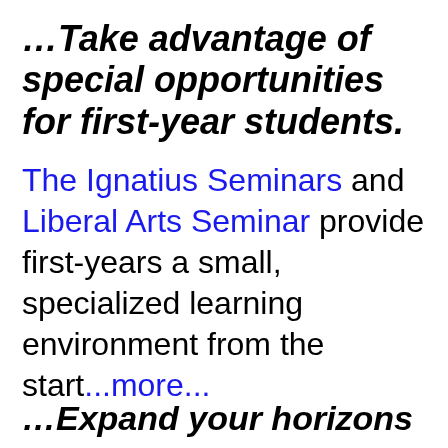…Take advantage of special opportunities for first-year students.
The Ignatius Seminars and Liberal Arts Seminar provide first-years a small, specialized learning environment from the start...more...
…Expand your horizons